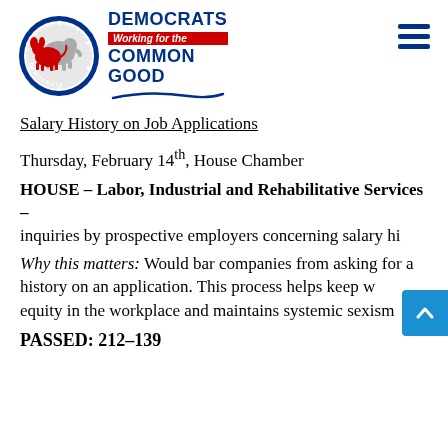[Figure (logo): Cheshire County Democrats logo: circular seal with donkey and stars, next to text 'DEMOCRATS Working for the COMMON GOOD' with red banner]
Salary History on Job Applications
Thursday, February 14th, House Chamber
HOUSE – Labor, Industrial and Rehabilitative Services – inquiries by prospective employers concerning salary hi
Why this matters: Would bar companies from asking for a history on an application. This process helps keep w equity in the workplace and maintains systemic sexism
PASSED: 212–139